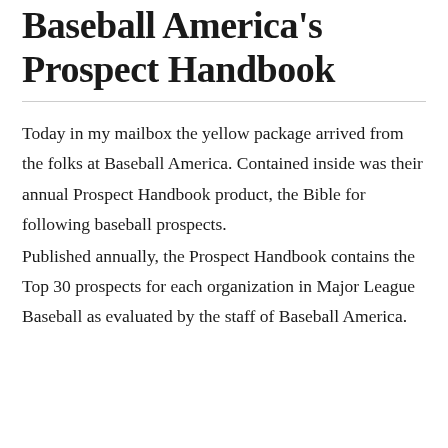Baseball America's Prospect Handbook
Today in my mailbox the yellow package arrived from the folks at Baseball America. Contained inside was their annual Prospect Handbook product, the Bible for following baseball prospects.
Published annually, the Prospect Handbook contains the Top 30 prospects for each organization in Major League Baseball as evaluated by the staff of Baseball America.